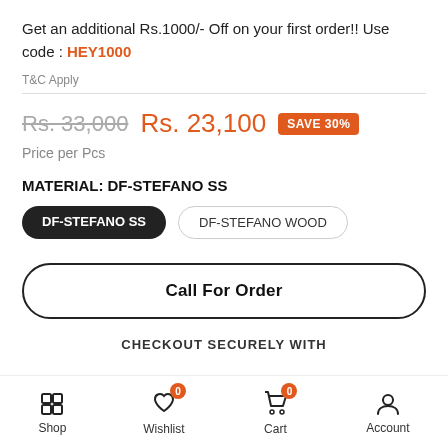Get an additional Rs.1000/- Off on your first order!! Use code : HEY1000
T&C Apply
Rs. 33,000  Rs. 23,100  SAVE 30%
Price per Pcs
MATERIAL: DF-STEFANO SS
DF-STEFANO SS  DF-STEFANO WOOD
Call For Order
CHECKOUT SECURELY WITH
Shop  Wishlist  Cart  Account